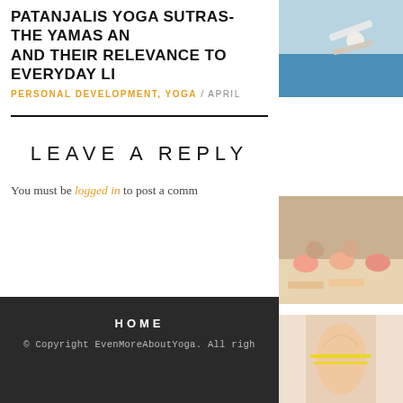PATANJALIS YOGA SUTRAS- THE YAMAS AND AND THEIR RELEVANCE TO EVERYDAY LI
PERSONAL DEVELOPMENT, YOGA / APRIL
LEAVE A REPLY
You must be logged in to post a comm
[Figure (photo): Person performing yoga pose on blue mat]
[Figure (photo): Group of women doing yoga/pilates exercises on mats with exercise balls]
[Figure (photo): Person's midsection with measuring tape around waist]
HOME
© Copyright EvenMoreAboutYoga. All righ